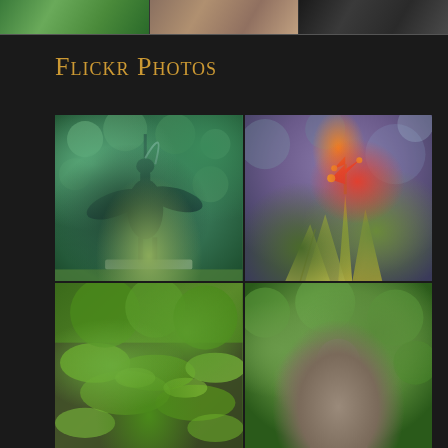[Figure (photo): Top strip of three photos: green tree/garden scene, brick wall scene, black and white portrait]
Flickr Photos
[Figure (photo): Grid of four outdoor photos: top-left shows a bird/heron fountain statue with water arc against green bokeh background; top-right shows a red tropical bromeliad or heliconia flower with striped leaves; bottom-left shows a mossy stone wall with green vegetation; bottom-right shows a stone bust/sculpture with green garden background]